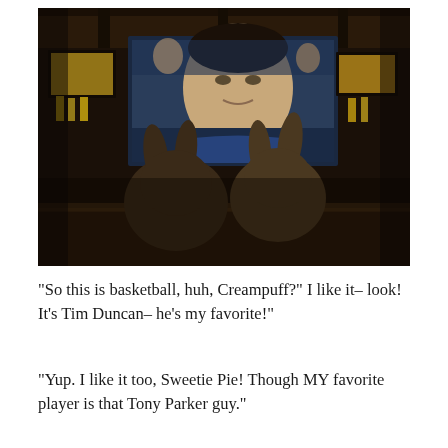[Figure (photo): Two rabbits (silhouettes from behind) sitting at a bar watching a large TV screen showing a basketball game with a player's face visible. Bar environment with bottles and other screens visible in the background.]
“So this is basketball, huh, Creampuff?” I like it– look! It’s Tim Duncan– he’s my favorite!”
“Yup. I like it too, Sweetie Pie! Though MY favorite player is that Tony Parker guy.”